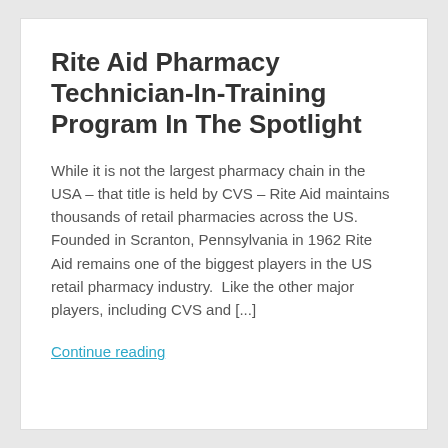Rite Aid Pharmacy Technician-In-Training Program In The Spotlight
While it is not the largest pharmacy chain in the USA – that title is held by CVS – Rite Aid maintains thousands of retail pharmacies across the US. Founded in Scranton, Pennsylvania in 1962 Rite Aid remains one of the biggest players in the US retail pharmacy industry.  Like the other major players, including CVS and [...]
Continue reading